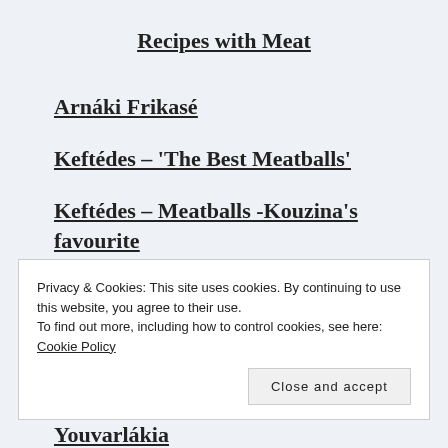Recipes with Meat
Arnáki Frikasé
Keftédes – 'The Best Meatballs'
Keftédes – Meatballs -Kouzina's favourite
Lahanodolmádes – Stuffed
Privacy & Cookies: This site uses cookies. By continuing to use this website, you agree to their use.
To find out more, including how to control cookies, see here: Cookie Policy
Youvarlákia